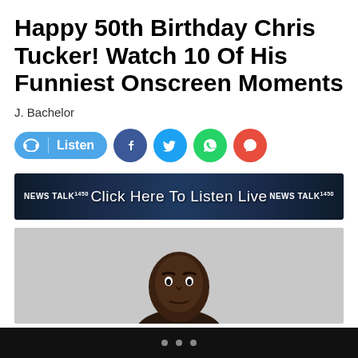Happy 50th Birthday Chris Tucker! Watch 10 Of His Funniest Onscreen Moments
J. Bachelor
[Figure (infographic): Social sharing bar with Listen button (blue pill shape with headphone icon), Facebook circle (blue), Twitter circle (light blue), WhatsApp circle (green), comment/chat circle (red)]
[Figure (infographic): Advertisement banner: NEWS TALK 1450 - Click Here To Listen Live - NEWS TALK 1450, dark blue background with city/capitol building silhouette]
[Figure (photo): Photo of Chris Tucker from shoulders up, light gray background, looking at camera with serious expression]